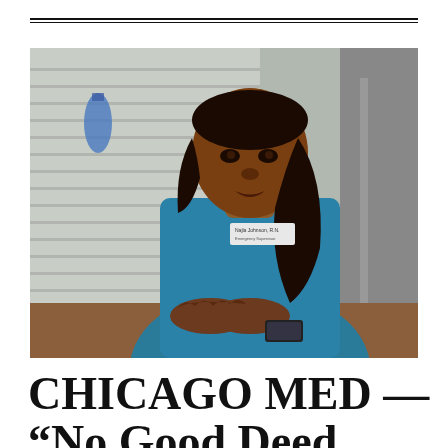[Figure (photo): A Black woman wearing a blue medical scrub top with a name badge reading 'Emergency Supervisor', sitting at a table with hands clasped, looking attentively to her right. The background shows blurred window blinds and medical office setting.]
CHICAGO MED — “No Good Deed Goes…